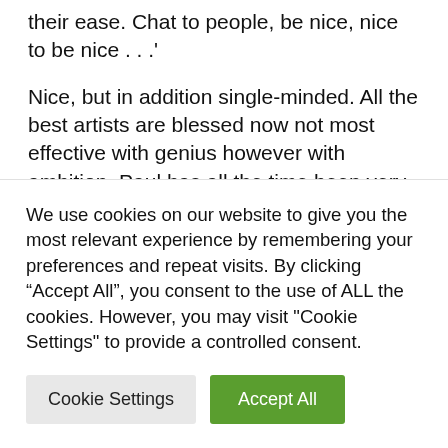their ease. Chat to people, be nice, nice to be nice . . .'
Nice, but in addition single-minded. All the best artists are blessed now not most effective with genius however with ambition. Paul has all the time been very pushed. Why else embark in your first musical — an adaptation of It's A Wonderful Life — when
We use cookies on our website to give you the most relevant experience by remembering your preferences and repeat visits. By clicking "Accept All", you consent to the use of ALL the cookies. However, you may visit "Cookie Settings" to provide a controlled consent.